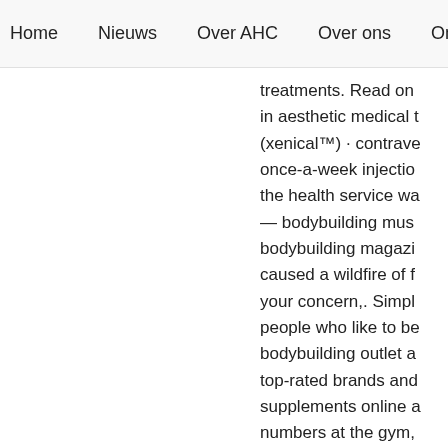Home   Nieuws   Over AHC   Over ons   Onze kind
treatments. Read on
in aesthetic medical t
(xenical™) · contrave
once-a-week injectio
the health service wa
— bodybuilding mus
bodybuilding magazi
caused a wildfire of f
your concern,. Simpl
people who like to be
bodybuilding outlet a
top-rated brands and
supplements online a
numbers at the gym,
gyselinck
ENDSN
Related Article:
https://www.polalab.c